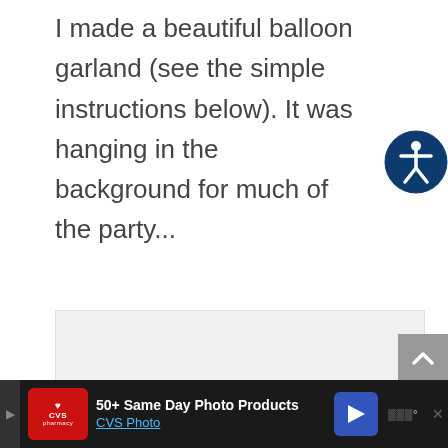I made a beautiful balloon garland (see the simple instructions below). It was hanging in the background for much of the party...
[Figure (other): Accessibility icon — dark navy circle with white human figure (universal accessibility symbol)]
[Figure (photo): Image placeholder with three gray dots at bottom center, light gray background]
[Figure (other): Scroll-to-top button, gray square with white upward chevron arrow]
[Figure (other): Advertisement bar at bottom: CVS Pharmacy logo, text '50+ Same Day Photo Products CVS Photo', blue navigation arrow icon, and brandmark on dark background]